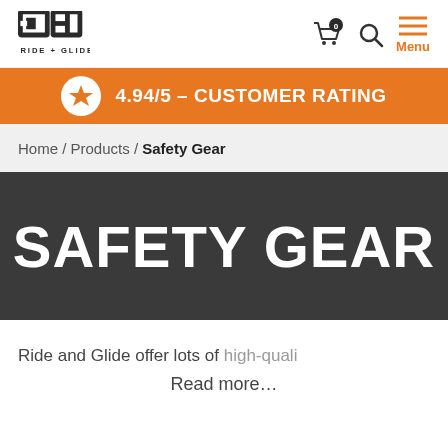[Figure (logo): Ride + Glide logo — bold geometric square/rectangle letterforms with 'RIDE + GLIDE' text below]
[Figure (infographic): Shopping cart icon with badge showing 0, search icon, and hamburger menu icon with orange 'Menu' label]
[Figure (infographic): Orange rating bar with white star circle icon and text '4.94/5 – CUSTOMER RATING' in white]
Home / Products / Safety Gear
SAFETY GEAR
Ride and Glide offer lots of high-quali
Read more…